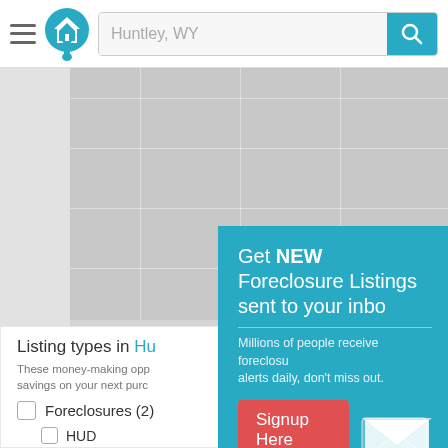Huntley, WY — search bar header
[Figure (screenshot): Map area showing Huntley, WY location, gray placeholder map]
Listing types in Hu[ntley]
These money-making opp[ortunities offer] savings on your next purc[hase].
Foreclosures (2)
HUD
$100 Down
[Figure (screenshot): Popup modal: Get NEW Foreclosure Listings sent to your inbox. Millions of people receive foreclosure alerts daily, don't miss out. Signup Here button. No Thanks | Remind Me Later. Mail envelope icon.]